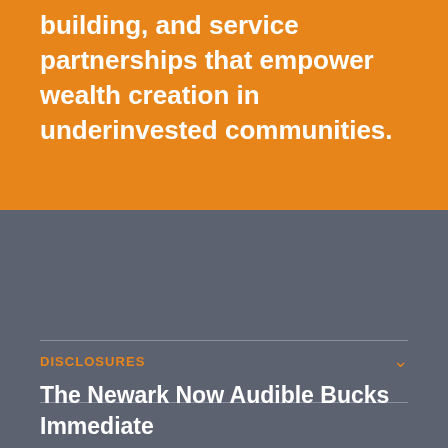building, and service partnerships that empower wealth creation in underinvested communities.
DISCLOSURES
The Newark Now Audible Bucks Immediate